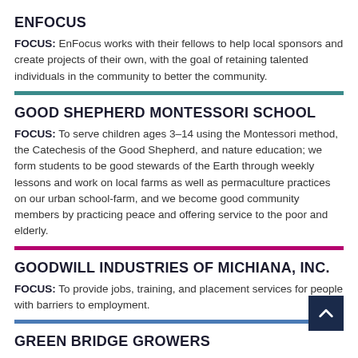ENFOCUS
FOCUS: EnFocus works with their fellows to help local sponsors and create projects of their own, with the goal of retaining talented individuals in the community to better the community.
GOOD SHEPHERD MONTESSORI SCHOOL
FOCUS: To serve children ages 3–14 using the Montessori method, the Catechesis of the Good Shepherd, and nature education; we form students to be good stewards of the Earth through weekly lessons and work on local farms as well as permaculture practices on our urban school-farm, and we become good community members by practicing peace and offering service to the poor and elderly.
GOODWILL INDUSTRIES OF MICHIANA, INC.
FOCUS: To provide jobs, training, and placement services for people with barriers to employment.
GREEN BRIDGE GROWERS